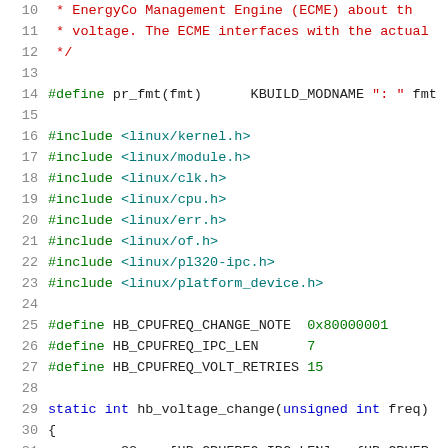10  * EnergyCo Management Engine (ECME) about th
11  * voltage. The ECME interfaces with the actual
12  */
13
14  #define pr_fmt(fmt)      KBUILD_MODNAME ": " fmt
15
16  #include <linux/kernel.h>
17  #include <linux/module.h>
18  #include <linux/clk.h>
19  #include <linux/cpu.h>
20  #include <linux/err.h>
21  #include <linux/of.h>
22  #include <linux/pl320-ipc.h>
23  #include <linux/platform_device.h>
24
25  #define HB_CPUFREQ_CHANGE_NOTE  0x80000001
26  #define HB_CPUFREQ_IPC_LEN      7
27  #define HB_CPUFREQ_VOLT_RETRIES 15
28
29  static int hb_voltage_change(unsigned int freq)
30  {
31      u32 msg[HB_CPUFREQ_IPC_LEN] = {HB_CPUFR